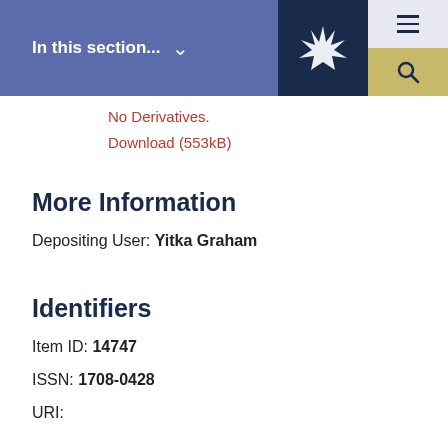In this section... ∨
No Derivatives.
Download (553kB)
More Information
Depositing User: Yitka Graham
Identifiers
Item ID: 14747
ISSN: 1708-0428
URI: